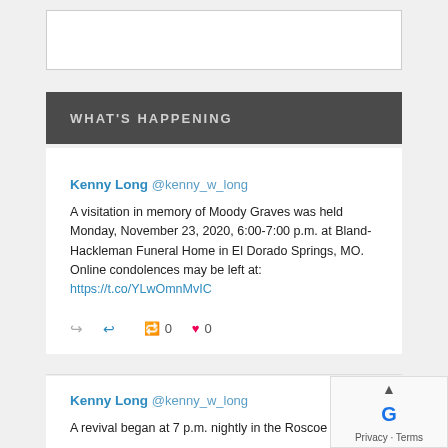[Figure (other): White advertisement box with border]
WHAT'S HAPPENING
Kenny Long @kenny_w_long
A visitation in memory of Moody Graves was held Monday, November 23, 2020, 6:00-7:00 p.m. at Bland-Hackleman Funeral Home in El Dorado Springs, MO.
Online condolences may be left at:
https://t.co/YLwOmnMvIC
Kenny Long @kenny_w_long
A revival began at 7 p.m. nightly in the Roscoe